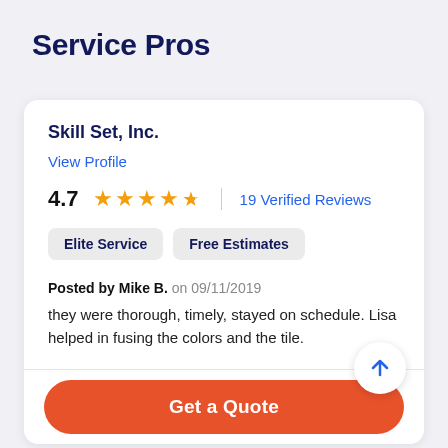Service Pros
Skill Set, Inc.
View Profile
4.7 ★★★★½ | 19 Verified Reviews
Elite Service
Free Estimates
Posted by Mike B. on 09/11/2019
they were thorough, timely, stayed on schedule. Lisa helped in fusing the colors and the tile.
Get a Quote